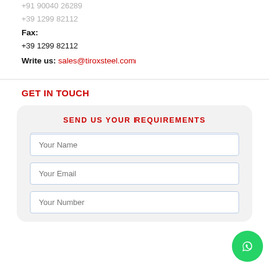+91 90040 26289
+39 1299 82112
Fax:
+39 1299 82112
Write us: sales@tiroxsteel.com
GET IN TOUCH
SEND US YOUR REQUIREMENTS
Your Name
Your Email
Your Number